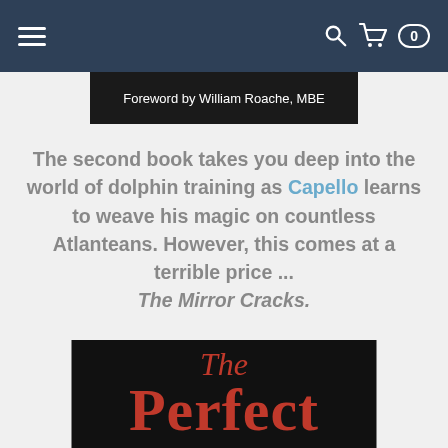Navigation bar with hamburger menu and cart icon (0 items)
[Figure (screenshot): Book banner image with text 'Foreword by William Roache, MBE' on black background]
The second book takes you deep into the world of dolphin training as Capello learns to weave his magic on countless Atlanteans. However, this comes at a terrible price ... The Mirror Cracks.
[Figure (screenshot): VISIT SHOP button in slate blue/teal color with rounded corners]
[Figure (screenshot): Bottom portion of book cover showing 'The Perfect' in large red decorative font on black background]